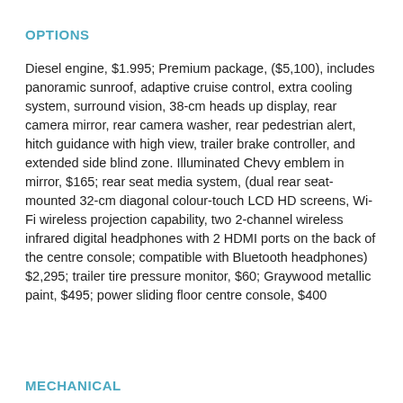OPTIONS
Diesel engine, $1.995; Premium package, ($5,100), includes panoramic sunroof, adaptive cruise control, extra cooling system, surround vision, 38-cm heads up display, rear camera mirror, rear camera washer, rear pedestrian alert, hitch guidance with high view, trailer brake controller, and extended side blind zone. Illuminated Chevy emblem in mirror, $165; rear seat media system, (dual rear seat-mounted 32-cm diagonal colour-touch LCD HD screens, Wi-Fi wireless projection capability, two 2-channel wireless infrared digital headphones with 2 HDMI ports on the back of the centre console; compatible with Bluetooth headphones) $2,295; trailer tire pressure monitor, $60; Graywood metallic paint, $495; power sliding floor centre console, $400
MECHANICAL